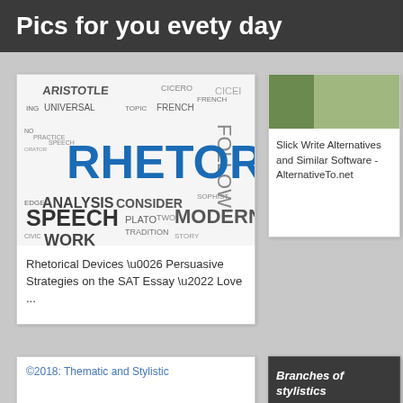Pics for you evety day
[Figure (illustration): Word cloud featuring rhetoric-related terms including RHETORIC (large, blue), SPEECH, MODERN, ARISTOTLE, UNIVERSAL, FRENCH, CICEI, ANALYSIS, CONSIDER, PLATO, TRADITION, FOLLOW, and many others in various sizes and grey/blue colors]
Rhetorical Devices \u0026 Persuasive Strategies on the SAT Essay \u2022 Love ...
Slick Write Alternatives and Similar Software - AlternativeTo.net
©2018: Thematic and Stylistic
Branches of stylistics